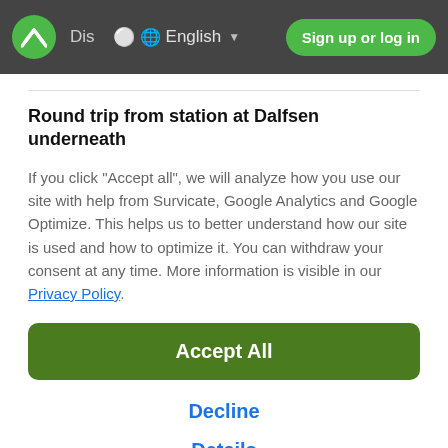Dis  English  Sign up or log in
Round trip from station at Dalfsen underneath
If you click "Accept all", we will analyze how you use our site with help from Survicate, Google Analytics and Google Optimize. This helps us to better understand how our site is used and how to optimize it. You can withdraw your consent at any time. More information is visible in our Privacy Policy.
Accept All
Decline
Details